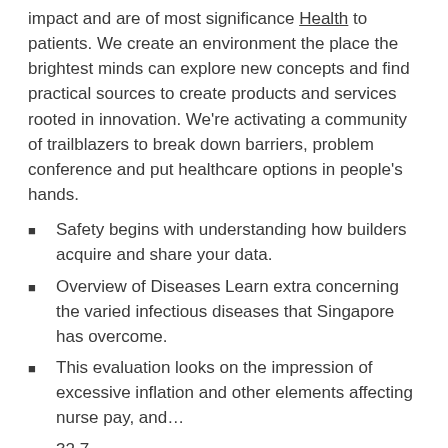impact and are of most significance Health to patients. We create an environment the place the brightest minds can explore new concepts and find practical sources to create products and services rooted in innovation. We're activating a community of trailblazers to break down barriers, problem conference and put healthcare options in people's hands.
Safety begins with understanding how builders acquire and share your data.
Overview of Diseases Learn extra concerning the varied infectious diseases that Singapore has overcome.
This evaluation looks on the impression of excessive inflation and other elements affecting nurse pay, and…
32.7
…